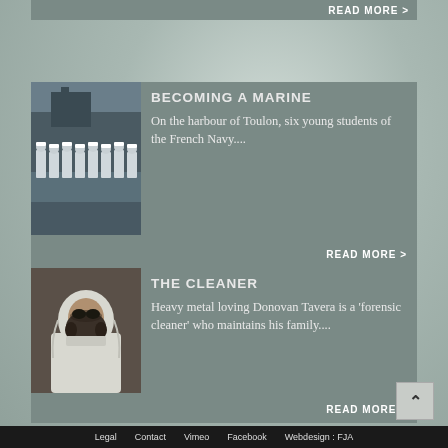READ MORE >
[Figure (photo): Navy sailors in white uniforms standing in formation at harbour]
BECOMING A MARINE
On the harbour of Toulon, six young students of the French Navy....
READ MORE >
[Figure (photo): Person wearing white hazmat suit and gas mask - forensic cleaner]
THE CLEANER
Heavy metal loving Donovan Tavera is a 'forensic cleaner' who maintains his family....
READ MORE >
Legal   Contact   Vimeo   Facebook   Webdesign : FJA